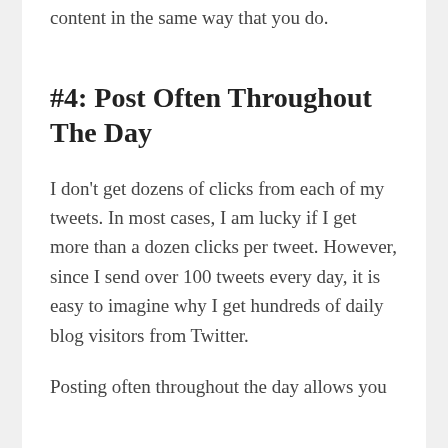content in the same way that you do.
#4: Post Often Throughout The Day
I don't get dozens of clicks from each of my tweets. In most cases, I am lucky if I get more than a dozen clicks per tweet. However, since I send over 100 tweets every day, it is easy to imagine why I get hundreds of daily blog visitors from Twitter.
Posting often throughout the day allows you